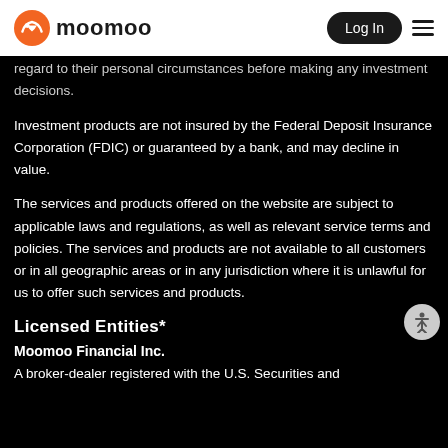moomoo | Log In
regard to their personal circumstances before making any investment decisions.
Investment products are not insured by the Federal Deposit Insurance Corporation (FDIC) or guaranteed by a bank, and may decline in value.
The services and products offered on the website are subject to applicable laws and regulations, as well as relevant service terms and policies. The services and products are not available to all customers or in all geographic areas or in any jurisdiction where it is unlawful for us to offer such services and products.
Licensed Entities*
Moomoo Financial Inc.
A broker-dealer registered with the U.S. Securities and